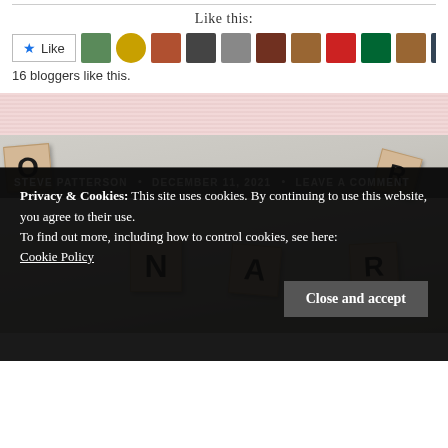Like this:
[Figure (screenshot): Like button with star icon and 11 blogger avatar thumbnails]
16 bloggers like this.
[Figure (photo): Scrabble tiles scattered on a surface showing letters O, N, A, R with blog post author bar: STEVE PATTERSON • DECEMBER 11, 2021 • LEAVE A COMMENT]
Privacy & Cookies: This site uses cookies. By continuing to use this website, you agree to their use.
To find out more, including how to control cookies, see here:
Cookie Policy
Close and accept